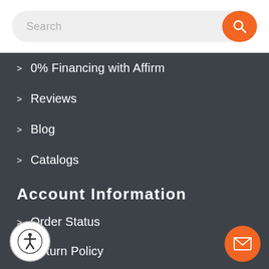[Figure (screenshot): Search bar with orange search button]
0% Financing with Affirm
Reviews
Blog
Catalogs
Account Information
Order Status
Return Policy
My Account
Orders